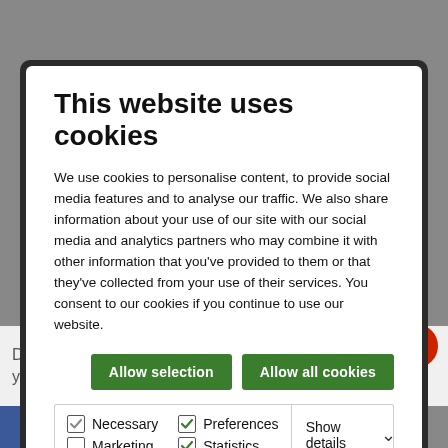This website uses cookies
We use cookies to personalise content, to provide social media features and to analyse our traffic. We also share information about your use of our site with our social media and analytics partners who may combine it with other information that you've provided to them or that they've collected from your use of their services. You consent to our cookies if you continue to use our website.
Allow selection | Allow all cookies
Necessary  Preferences  Statistics  Marketing  Show details
Do you want to volunteer for your community? Join Rotary  MORE »
[Figure (screenshot): Social sharing bar with icons: Facebook, Messenger, Twitter, LinkedIn, Pinterest, Email]